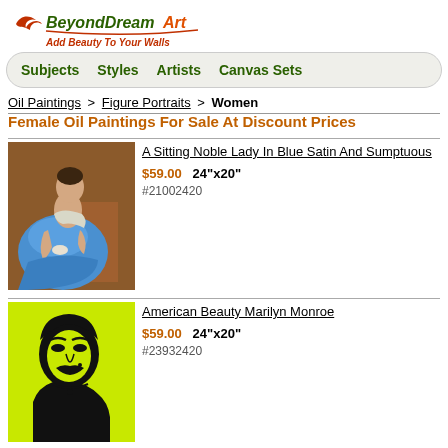[Figure (logo): BeyondDreamArt logo with bird icon and tagline 'Add Beauty To Your Walls']
Subjects   Styles   Artists   Canvas Sets
Oil Paintings > Figure Portraits > Women
Female Oil Paintings For Sale At Discount Prices
[Figure (photo): Painting of a sitting noble lady in blue satin dress]
A Sitting Noble Lady In Blue Satin And Sumptuous
$59.00   24"x20"
#21002420
[Figure (photo): Pop art style painting of Marilyn Monroe on yellow-green background]
American Beauty Marilyn Monroe
$59.00   24"x20"
#23932420